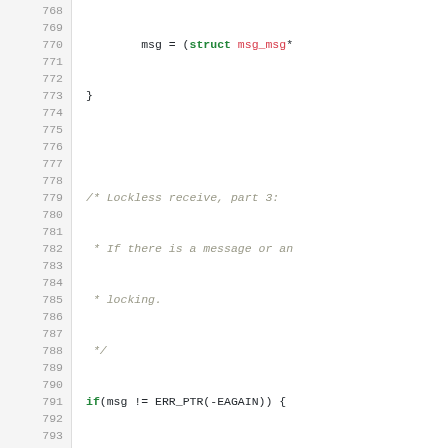[Figure (screenshot): Source code listing showing lines 768-794 of a C kernel file, with syntax highlighting. Line numbers in grey on left, code on right with green keywords, magenta type names, and grey comments.]